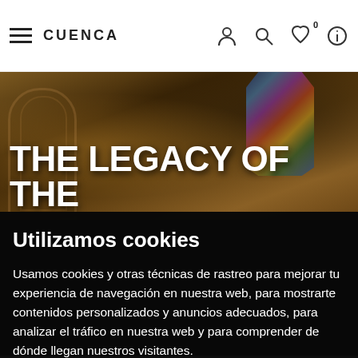CUENCA
[Figure (photo): Church/cathedral interior with stained glass windows and arched stone ceiling, warm golden-brown tones]
THE LEGACY OF THE
Utilizamos cookies
Usamos cookies y otras técnicas de rastreo para mejorar tu experiencia de navegación en nuestra web, para mostrarte contenidos personalizados y anuncios adecuados, para analizar el tráfico en nuestra web y para comprender de dónde llegan nuestros visitantes.
Aceptar | Configurar